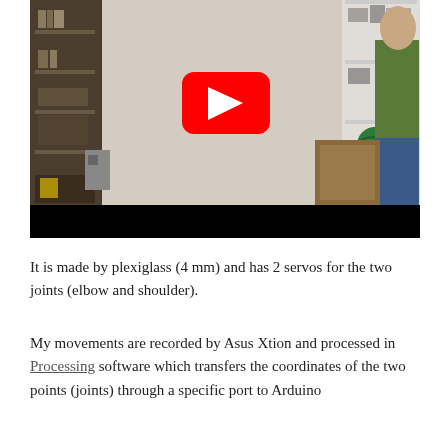[Figure (screenshot): YouTube video thumbnail showing a person standing in a room with shelves, with a YouTube play button overlay in the center]
It is made by plexiglass (4 mm) and has 2 servos for the two joints (elbow and shoulder).
My movements are recorded by Asus Xtion and processed in Processing software which transfers the coordinates of the two points (joints) through a specific port to Arduino